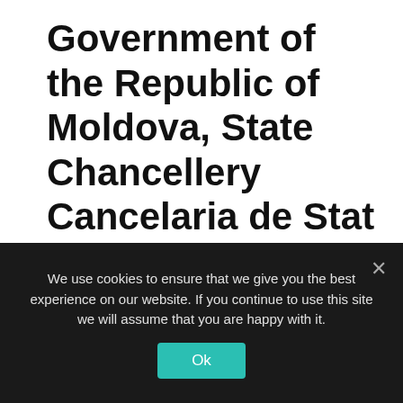Government of the Republic of Moldova, State Chancellery Cancelaria de Stat
Deputy Head of Policies, Strategic Planning and External Aid Department
We use cookies to ensure that we give you the best experience on our website. If you continue to use this site we will assume that you are happy with it.